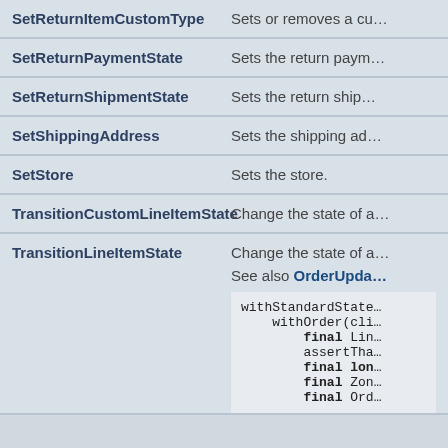| Method | Description |
| --- | --- |
| SetReturnItemCustomType | Sets or removes a cu… |
| SetReturnPaymentState | Sets the return paym… |
| SetReturnShipmentState | Sets the return ship… |
| SetShippingAddress | Sets the shipping ad… |
| SetStore | Sets the store. |
| TransitionCustomLineItemState | Change the state of … |
| TransitionLineItemState | Change the state of …
See also OrderUpda…

withStandardState…
 withOrder(cli…
  final Lin…
  assertTha…
  final lon…
  final Zon…
  final Ord… |